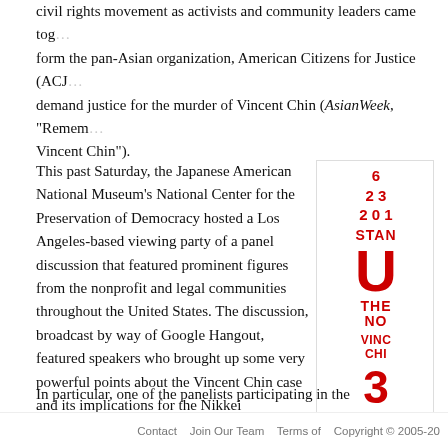civil rights movement as activists and community leaders came together to form the pan-Asian organization, American Citizens for Justice (ACJ) and demand justice for the murder of Vincent Chin (AsianWeek, "Remembering Vincent Chin").
This past Saturday, the Japanese American National Museum's National Center for the Preservation of Democracy hosted a Los Angeles-based viewing party of a panel discussion that featured prominent figures from the nonprofit and legal communities throughout the United States. The discussion, broadcast by way of Google Hangout, featured speakers who brought up some very powerful points about the Vincent Chin case and its implications for the Nikkei community, the larger Asian American community, and also people of color in general.
[Figure (other): Partial sidebar image showing event promotional material with red text: numbers (6, 23, 201?), STAN(D), large U, THE, NO, VINC, CHI, 3(0) in red on white background — appears to be a cropped event flyer or advertisement.]
Watch the discussion on YouTube >>
In particular, one of the panelists participating in the
Contact   Join Our Team   Terms of   Copyright © 2005-20